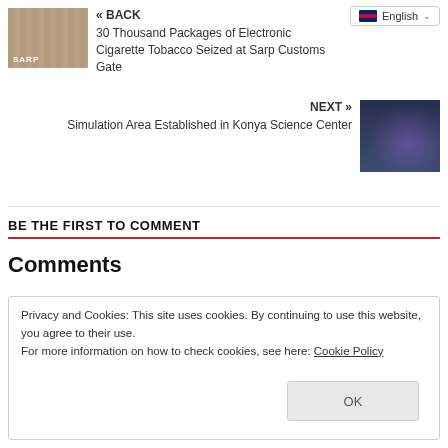« BACK
30 Thousand Packages of Electronic Cigarette Tobacco Seized at Sarp Customs Gate
NEXT »
Simulation Area Established in Konya Science Center
BE THE FIRST TO COMMENT
Comments
Privacy and Cookies: This site uses cookies. By continuing to use this website, you agree to their use.
For more information on how to check cookies, see here: Cookie Policy